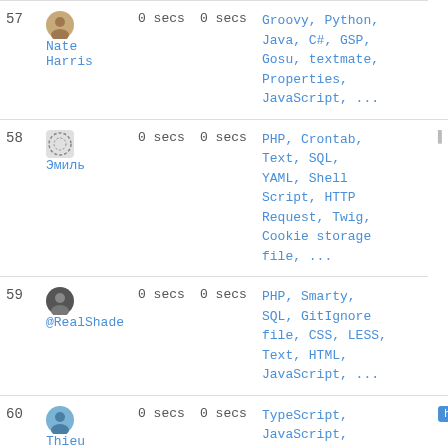| # | User | Time | Time | Languages |
| --- | --- | --- | --- | --- |
| 57 | Nate Harris | 0 secs | 0 secs | Groovy, Python, Java, C#, GSP, Gosu, textmate, Properties, JavaScript, ... |
| 58 | Эмиль | 0 secs | 0 secs | PHP, Crontab, Text, SQL, YAML, Shell Script, HTTP Request, Twig, Cookie storage file, ... |
| 59 | @RealShade | 0 secs | 0 secs | PHP, Smarty, SQL, GitIgnore file, CSS, LESS, Text, HTML, JavaScript, ... |
| 60 | Thieu Quan Ngoc | 0 secs | 0 secs | TypeScript, JavaScript, Python, JSON, SCSS, yarn.lock, YAML, Text |